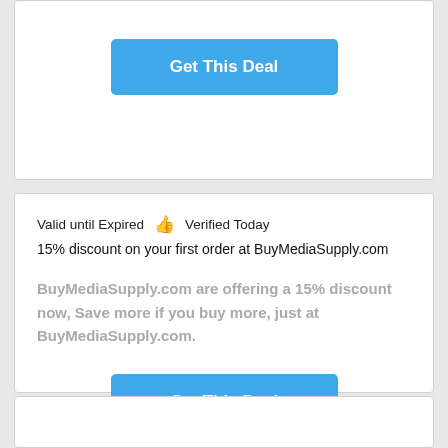[Figure (other): Blue 'Get This Deal' button in top card]
Valid until Expired   👍   Verified Today
15% discount on your first order at BuyMediaSupply.com
BuyMediaSupply.com are offering a 15% discount now, Save more if you buy more, just at BuyMediaSupply.com.
[Figure (other): Blue 'Get This Deal' button in middle card]
[Figure (other): White card at bottom (partial)]